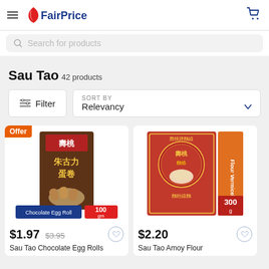FairPrice
Search for products
Sau Tao
42 products
Filter
SORT BY Relevancy
[Figure (photo): Sau Tao Chocolate Egg Roll product image, 100gm box]
$1.97 $3.95
Sau Tao Chocolate Egg Rolls
[Figure (photo): Sau Tao Amoy Flour Vermicelli product image, 300g]
$2.20
Sau Tao Amoy Flour